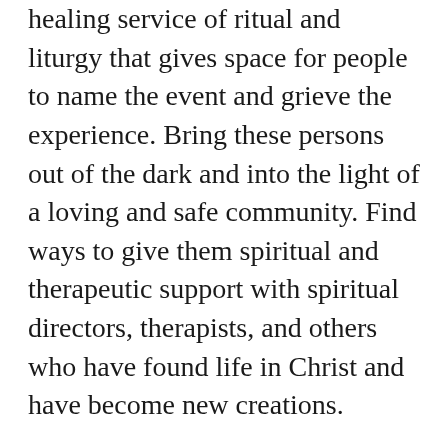healing service of ritual and liturgy that gives space for people to name the event and grieve the experience. Bring these persons out of the dark and into the light of a loving and safe community. Find ways to give them spiritual and therapeutic support with spiritual directors, therapists, and others who have found life in Christ and have become new creations.
When Jesus spoke these words, he spoke them for me and others like me:
The Spirit of the Lord is upon me, because he has anointed me to bring good news to the poor. He has sent me to proclaim release to the